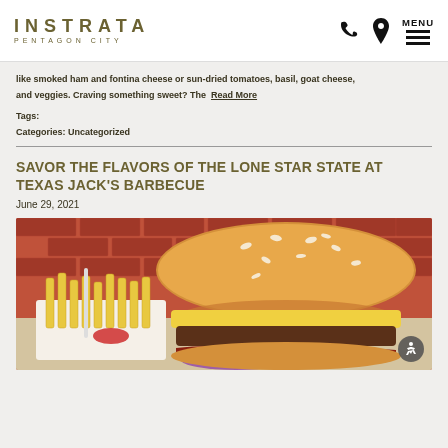INSTRATA PENTAGON CITY
like smoked ham and fontina cheese or sun-dried tomatoes, basil, goat cheese, and veggies. Craving something sweet? The  Read More
Tags:
Categories: Uncategorized
SAVOR THE FLAVORS OF THE LONE STAR STATE AT TEXAS JACK'S BARBECUE
June 29, 2021
[Figure (photo): Close-up photo of a burger with melted cheese and bacon on a sesame seed bun, with french fries in the background against a red brick wall]